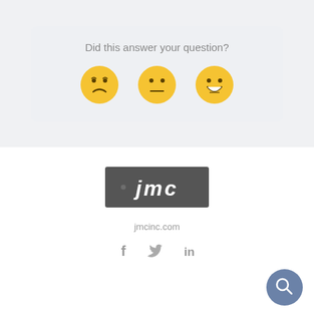Did this answer your question?
[Figure (illustration): Three emoji faces: sad face, neutral face, happy face in a feedback widget]
[Figure (logo): JMC logo - dark gray rectangle with white italic text 'jmc']
jmcinc.com
[Figure (illustration): Social media icons: Facebook (f), Twitter (bird), LinkedIn (in)]
[Figure (illustration): Search magnifying glass icon button in blue-gray circle, bottom right]